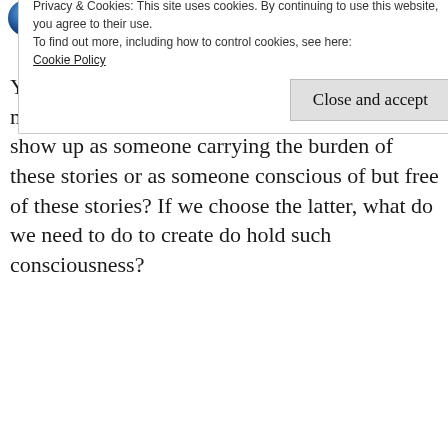[Figure (photo): Avatar photo of Shakti Ghosal - circular profile picture with blue tones]
Shakti Ghosal ▲
July 21, 2013 at 2:09 pm
Yes, we remain the crucible and the carrier of so many stories from our past. Do we then show show up as someone carrying the burden of these stories or as someone conscious of but free of these stories? If we choose the latter, what do we need to do to create do hold such consciousness?
Privacy & Cookies: This site uses cookies. By continuing to use this website, you agree to their use.
To find out more, including how to control cookies, see here:
Cookie Policy
Close and accept